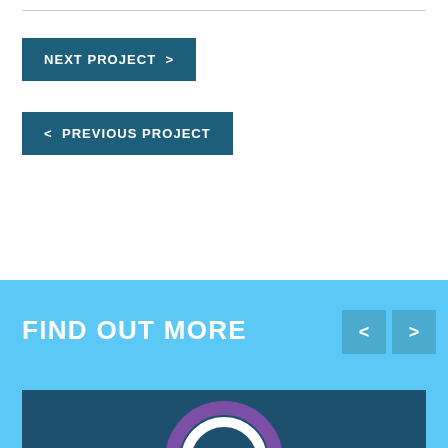NEXT PROJECT >
< PREVIOUS PROJECT
FIND OUT MORE
[Figure (screenshot): Navigation card preview at bottom showing dark blue panel with partial circular logo (purple/white arc) visible]